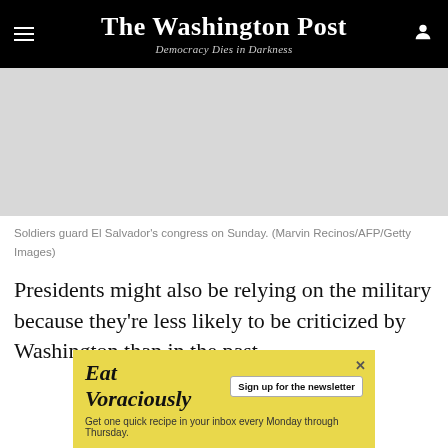The Washington Post — Democracy Dies in Darkness
[Figure (photo): Soldiers guard El Salvador's congress on Sunday. Photo area (gray placeholder).]
Soldiers guard El Salvador's congress on Sunday. (Marvin Recinos/AFP/Getty Images)
Presidents might also be relying on the military because they're less likely to be criticized by Washington than in the past.
[Figure (infographic): Advertisement banner: Eat Voraciously — Sign up for the newsletter. Get one quick recipe in your inbox every Monday through Thursday.]